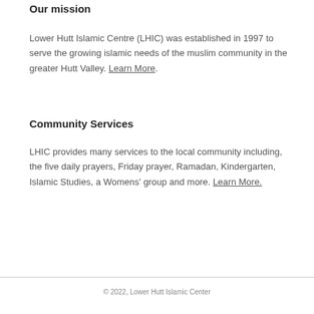Our mission
Lower Hutt Islamic Centre (LHIC) was established in 1997 to serve the growing islamic needs of the muslim community in the greater Hutt Valley. Learn More.
Community Services
LHIC provides many services to the local community including, the five daily prayers, Friday prayer, Ramadan, Kindergarten, Islamic Studies, a Womens' group and more. Learn More.
© 2022, Lower Hutt Islamic Center